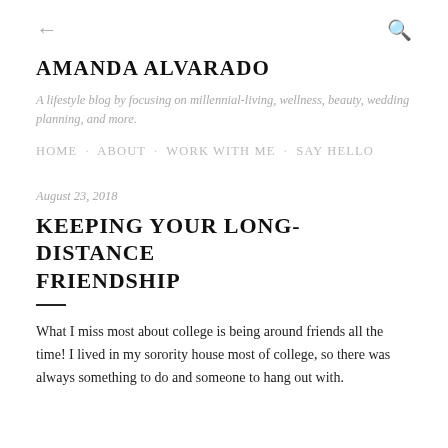← [back] [search]
AMANDA ALVARADO
A lifestyle blog by focusing on millennial-living, wellness, beauty, wedding planning, and more.
HOME · ABOUT · WORK WITH ME · SAY HELLO
August 23, 2018
KEEPING YOUR LONG-DISTANCE FRIENDSHIP
What I miss most about college is being around friends all the time! I lived in my sorority house most of college, so there was always something to do and someone to hang out with.